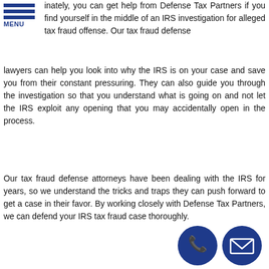MENU
inately, you can get help from Defense Tax Partners if you find yourself in the middle of an IRS investigation for alleged tax fraud offense. Our tax fraud defense lawyers can help you look into why the IRS is on your case and save you from their constant pressuring. They can also guide you through the investigation so that you understand what is going on and not let the IRS exploit any opening that you may accidentally open in the process.
Our tax fraud defense attorneys have been dealing with the IRS for years, so we understand the tricks and traps they can push forward to get a case in their favor. By working closely with Defense Tax Partners, we can defend your IRS tax fraud case thoroughly.
Finest Carlton Tax Fraud Defense Attorneys
Dealing with any tax case is a very stressful experience, especially if this is the first time you are experiencing it